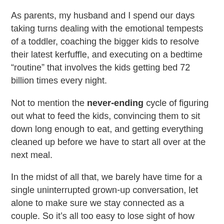As parents, my husband and I spend our days taking turns dealing with the emotional tempests of a toddler, coaching the bigger kids to resolve their latest kerfuffle, and executing on a bedtime “routine” that involves the kids getting bed 72 billion times every night.
Not to mention the never-ending cycle of figuring out what to feed the kids, convincing them to sit down long enough to eat, and getting everything cleaned up before we have to start all over at the next meal.
In the midst of all that, we barely have time for a single uninterrupted grown-up conversation, let alone to make sure we stay connected as a couple. So it’s all too easy to lose sight of how lucky we are to have each other.
But I know we can't let that happen. In our former lives, my husband and I have both been through divorce. We know the consequences of not making time to connect as a couple – and we’re fierce in our resolve to keep our relationship